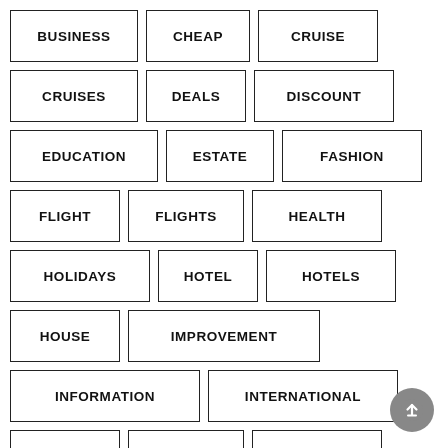BUSINESS
CHEAP
CRUISE
CRUISES
DEALS
DISCOUNT
EDUCATION
ESTATE
FASHION
FLIGHT
FLIGHTS
HEALTH
HOLIDAYS
HOTEL
HOTELS
HOUSE
IMPROVEMENT
INFORMATION
INTERNATIONAL
ISLAND
JOURNEY
LEISURE